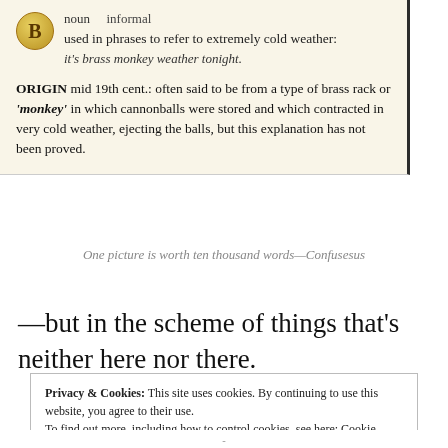[Figure (other): Dictionary entry box with letter B badge. noun informal label, usage phrase 'used in phrases to refer to extremely cold weather: it's brass monkey weather tonight.' and ORIGIN note about mid 19th century.]
One picture is worth ten thousand words—Confusesus
—but in the scheme of things that's neither here nor there.
Privacy & Cookies: This site uses cookies. By continuing to use this website, you agree to their use. To find out more, including how to control cookies, see here: Cookie Policy